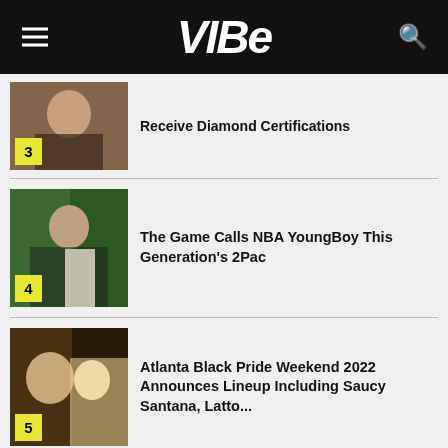VIBE
Receive Diamond Certifications
3
The Game Calls NBA YoungBoy This Generation's 2Pac
4
Atlanta Black Pride Weekend 2022 Announces Lineup Including Saucy Santana, Latto...
5
SPY SMART HOME AWARDS
75 BEST GADGETS OF 2022